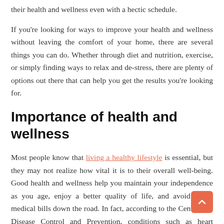their health and wellness even with a hectic schedule.
If you're looking for ways to improve your health and wellness without leaving the comfort of your home, there are several things you can do. Whether through diet and nutrition, exercise, or simply finding ways to relax and de-stress, there are plenty of options out there that can help you get the results you're looking for.
Importance of health and wellness
Most people know that living a healthy lifestyle is essential, but they may not realize how vital it is to their overall well-being. Good health and wellness help you maintain your independence as you age, enjoy a better quality of life, and avoid costly medical bills down the road. In fact, according to the Centers for Disease Control and Prevention, conditions such as heart disease, stroke, and diabetes cost the US trillions of dollars each year in health care